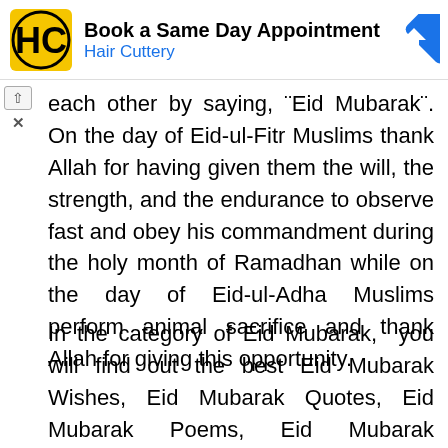[Figure (other): Advertisement banner for Hair Cuttery: 'Book a Same Day Appointment' with HC logo and navigation icon]
each other by saying, "Eid Mubarak". On the day of Eid-ul-Fitr Muslims thank Allah for having given them the will, the strength, and the endurance to observe fast and obey his commandment during the holy month of Ramadhan while on the day of Eid-ul-Adha Muslims perform animal sacrifice and thank Allah for giving this opportunity.
In the category of Eid Mubarak,  you will find out the best Eid Mubarak Wishes, Eid Mubarak Quotes, Eid Mubarak Poems, Eid Mubarak Greetings, Eid Mubarak Wallpapers, Eid Mubarak Images, Eid Mubarak SMS